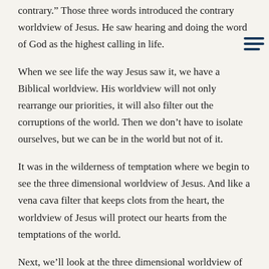contrary.”  Those three words introduced the contrary worldview of Jesus.  He saw hearing and doing the word of God as the highest calling in life.
When we see life the way Jesus saw it, we have a Biblical worldview.  His worldview will not only rearrange our priorities, it will also filter out the corruptions of the world.  Then we don’t have to isolate ourselves, but we can be in the world but not of it.
It was in the wilderness of temptation where we begin to see the three dimensional worldview of Jesus.  And like a vena cava filter that keeps clots from the heart, the worldview of Jesus will protect our hearts from the temptations of the world.
Next, we’ll look at the three dimensional worldview of Jesus in a two dimensional world … [to be continued.]